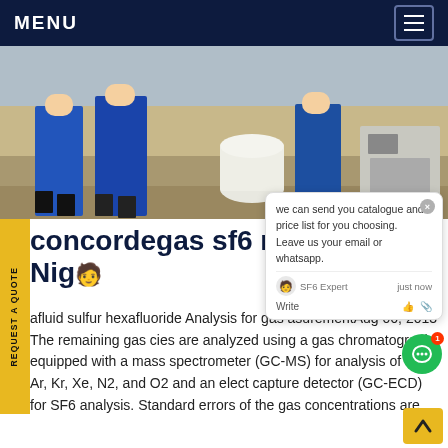MENU
[Figure (photo): Workers in blue uniforms/overalls working outdoors with equipment including a white barrel/container]
concordegas sf6 missions in Nigeria
afluid sulfur hexafluoride Analysis for gas asurementAug 06, 2013 The remaining gas cies are analyzed using a gas chromatograph equipped with a mass spectrometer (GC-MS) for analysis of Ne, Ar, Kr, Xe, N2, and O2 and an electron capture detector (GC-ECD) for SF6 analysis. Standard errors of the gas concentrations are